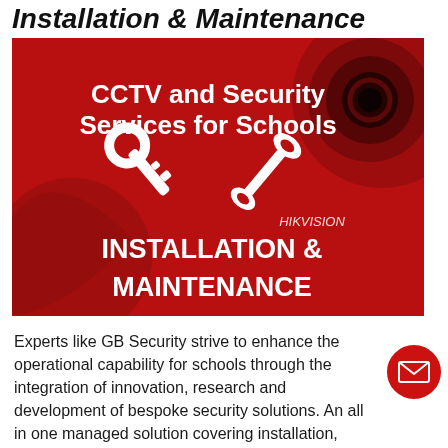Installation & Maintenance
[Figure (illustration): Red-background promotional graphic for CCTV and Security Services for Schools. White bold text reads 'CCTV and Security Services for Schools'. Below, white icons of crossed wrench and key. Below that, italic text 'HIKVISION' and bold white text 'INSTALLATION & MAINTENANCE'. Background shows CCTV camera images.]
Experts like GB Security strive to enhance the operational capability for schools through the integration of innovation, research and development of bespoke security solutions. An all in one managed solution covering installation, regular support  and maintenance can improve the efficiency of running day to day schools